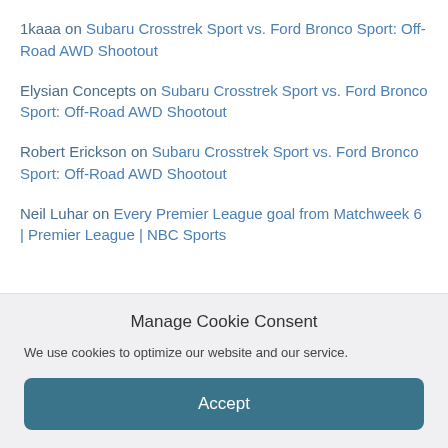1kaaa on Subaru Crosstrek Sport vs. Ford Bronco Sport: Off-Road AWD Shootout
Elysian Concepts on Subaru Crosstrek Sport vs. Ford Bronco Sport: Off-Road AWD Shootout
Robert Erickson on Subaru Crosstrek Sport vs. Ford Bronco Sport: Off-Road AWD Shootout
Neil Luhar on Every Premier League goal from Matchweek 6 | Premier League | NBC Sports
Manage Cookie Consent
We use cookies to optimize our website and our service.
Accept